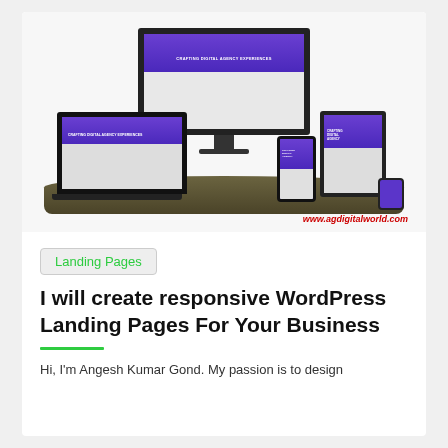[Figure (photo): Multiple responsive devices (desktop monitor, laptop, tablet, phone, smartwatch) all showing a purple digital agency WordPress website, arranged on a wooden desk surface. URL www.agdigitalworld.com shown in red italic text.]
www.agdigitalworld.com
Landing Pages
I will create responsive WordPress Landing Pages For Your Business
Hi, I'm Angesh Kumar Gond. My passion is to design